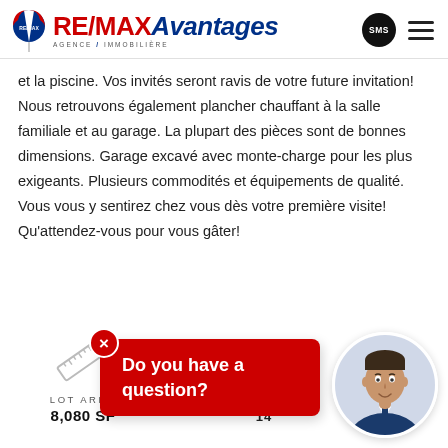RE/MAX Avantages Agence Immobilière
et la piscine. Vos invités seront ravis de votre future invitation! Nous retrouvons également plancher chauffant à la salle familiale et au garage. La plupart des pièces sont de bonnes dimensions. Garage excavé avec monte-charge pour les plus exigeants. Plusieurs commodités et équipements de qualité. Vous vous y sentirez chez vous dès votre première visite! Qu'attendez-vous pour vous gâter!
[Figure (infographic): Lot area info with ruler icon, showing LOT AREA 8,080 SF]
[Figure (infographic): Red popup chat bubble with close X button, text: Do you have a question?]
[Figure (infographic): Door icon with number 14 below it]
[Figure (photo): Circular headshot of male real estate agent in suit, smiling]